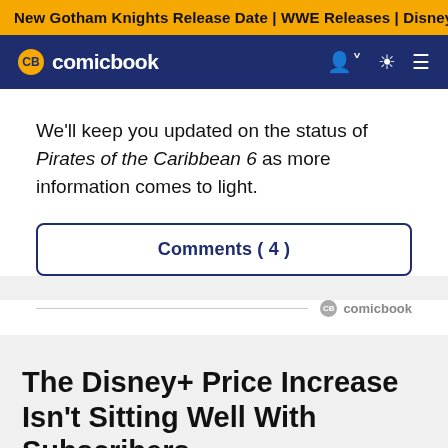New Gotham Knights Release Date | WWE Releases | Disney+
CB comicbook
We'll keep you updated on the status of Pirates of the Caribbean 6 as more information comes to light.
Comments ( 4 )
[Figure (logo): CB comicbook small logo]
The Disney+ Price Increase Isn't Sitting Well With Subscribers